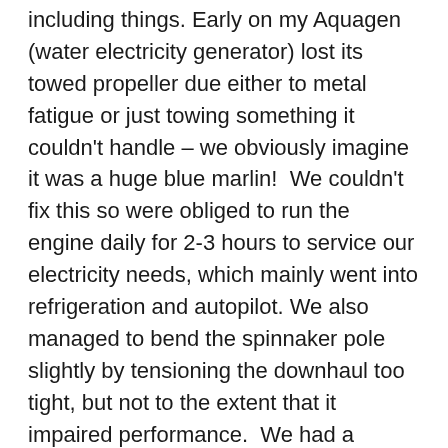including things. Early on my Aquagen (water electricity generator) lost its towed propeller due either to metal fatigue or just towing something it couldn't handle – we obviously imagine it was a huge blue marlin!  We couldn't fix this so were obliged to run the engine daily for 2-3 hours to service our electricity needs, which mainly went into refrigeration and autopilot. We also managed to bend the spinnaker pole slightly by tensioning the downhaul too tight, but not to the extent that it impaired performance.  We had a heads blockage caused by, of all things, a curtain clip falling into the bowl and occupying a key bend in the pipework (note to self – always keep the bowl shut).  I now understand my heads pipework much better! Our main VHF died owing to a blown fuse and we not